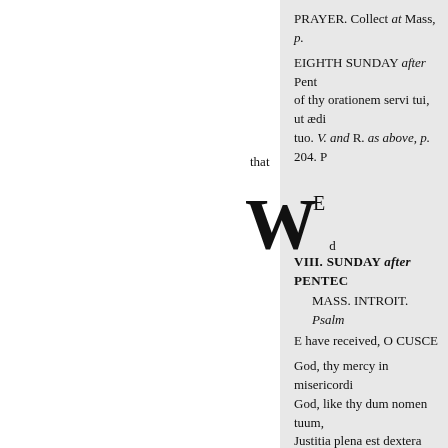PRAYER. Collect at Mass, p.
EIGHTH SUNDAY after Pent of thy orationem servi tui, ut ædi tuo. V. and R. as above, p. 204. P
that
WE
VIII. SUNDAY after PENTEC
MASS. INTROIT. Psalm
E have received, O CUSCE
God, thy mercy in misericordi God, like thy dum nomen tuum, Justitia plena est dextera hand is laudabilis nimis ; in cigreatly to b ejus. V. Gloria. holy mount. V. G
COLLECT. Largire nobis. Grant